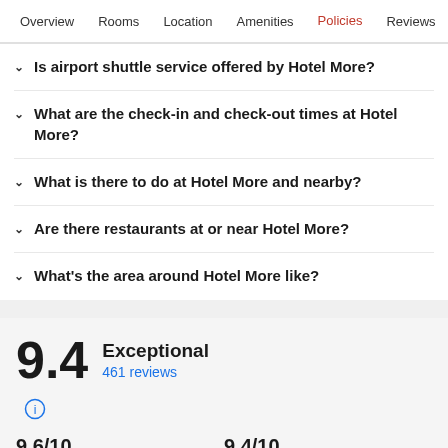Overview | Rooms | Location | Amenities | Policies | Reviews
Is airport shuttle service offered by Hotel More?
What are the check-in and check-out times at Hotel More?
What is there to do at Hotel More and nearby?
Are there restaurants at or near Hotel More?
What's the area around Hotel More like?
9.4 Exceptional 461 reviews
9.6/10 Cleanliness
9.4/10 Staff & service